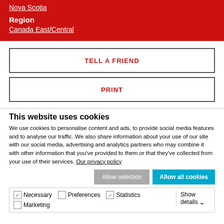Nova Scotia
Region
Canada East/Central
TELL A FRIEND
PRINT
This website uses cookies
We use cookies to personalise content and ads, to provide social media features and to analyse our traffic. We also share information about your use of our site with our social media, advertising and analytics partners who may combine it with other information that you've provided to them or that they've collected from your use of their services. Our privacy policy
Allow selection
Allow all cookies
Necessary  Preferences  Statistics  Marketing  Show details